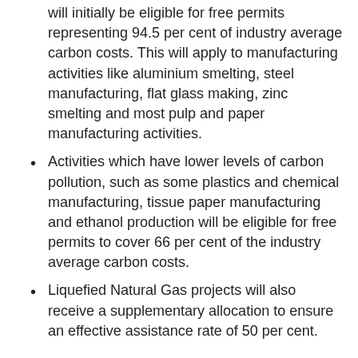will initially be eligible for free permits representing 94.5 per cent of industry average carbon costs. This will apply to manufacturing activities like aluminium smelting, steel manufacturing, flat glass making, zinc smelting and most pulp and paper manufacturing activities.
Activities which have lower levels of carbon pollution, such as some plastics and chemical manufacturing, tissue paper manufacturing and ethanol production will be eligible for free permits to cover 66 per cent of the industry average carbon costs.
Liquefied Natural Gas projects will also receive a supplementary allocation to ensure an effective assistance rate of 50 per cent.
The Jobs and Competitiveness Program will provide support to activities that generate over 80 per cent of emissions within the manufacturing sector.
As the world moves towards a low-carbon future,